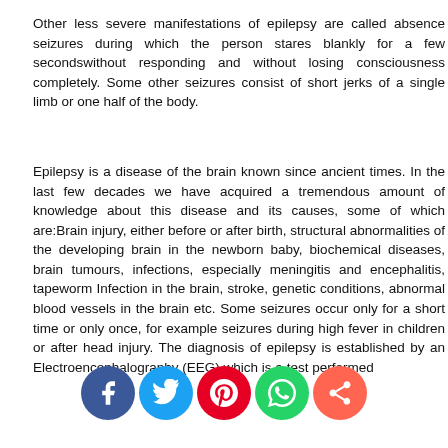Other less severe manifestations of epilepsy are called absence seizures during which the person stares blankly for a few secondswithout responding and without losing consciousness completely. Some other seizures consist of short jerks of a single limb or one half of the body.
Epilepsy is a disease of the brain known since ancient times. In the last few decades we have acquired a tremendous amount of knowledge about this disease and its causes, some of which are:Brain injury, either before or after birth, structural abnormalities of the developing brain in the newborn baby, biochemical diseases, brain tumours, infections, especially meningitis and encephalitis, tapeworm Infection in the brain, stroke, genetic conditions, abnormal blood vessels in the brain etc. Some seizures occur only for a short time or only once, for example seizures during high fever in children or after head injury. The diagnosis of epilepsy is established by an Electroencephalography (EEG) which is a test performed
[Figure (infographic): Row of five social media sharing icon circles: Facebook (blue), Twitter (light blue), Pinterest (red), WhatsApp (green), Share/other (orange-red)]